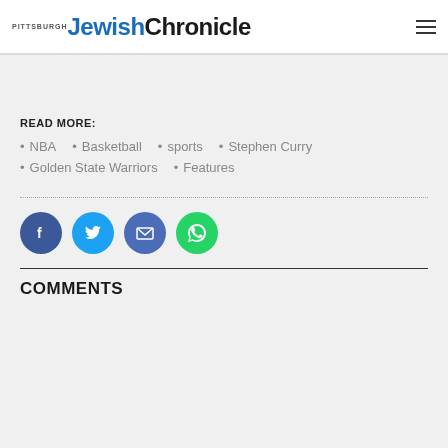Pittsburgh Jewish Chronicle
READ MORE:
NBA  •  Basketball  •  sports  •  Stephen Curry
Golden State Warriors  •  Features
[Figure (infographic): Social share icons: Facebook (blue), Twitter (light blue), Email (blue), WhatsApp (green)]
COMMENTS